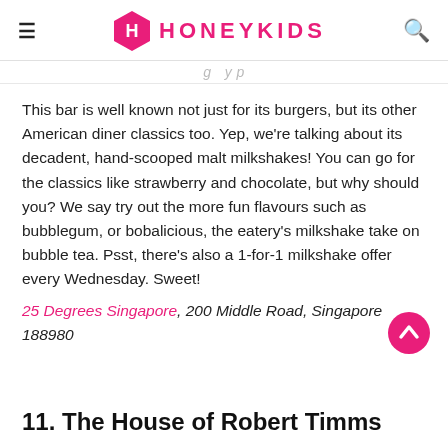HONEYKIDS
This bar is well known not just for its burgers, but its other American diner classics too. Yep, we're talking about its decadent, hand-scooped malt milkshakes! You can go for the classics like strawberry and chocolate, but why should you? We say try out the more fun flavours such as bubblegum, or bobalicious, the eatery's milkshake take on bubble tea. Psst, there's also a 1-for-1 milkshake offer every Wednesday. Sweet!
25 Degrees Singapore, 200 Middle Road, Singapore 188980
11. The House of Robert Timms